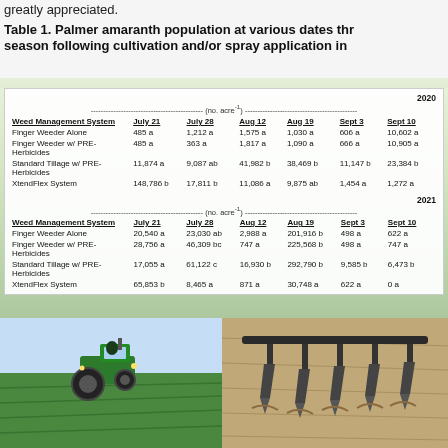greatly appreciated.
Table 1. Palmer amaranth population at various dates thr season following cultivation and/or spray application in
| Weed Management System | July 21 | July 28 | Aug 12 | Aug 19 | Sept 3 | Sept 10 |
| --- | --- | --- | --- | --- | --- | --- |
| 2020 |  |  |  |  |  |  |
| (no. acre⁻¹) |  |  |  |  |  |  |
| Finger Weeder Alone | 485 a | 1,212 a | 1,575 a | 1,030 a | 606 a | 10,602 a |
| Finger Weeder w/ PRE-Herbicides | 485 a | 363 a | 1,817 a | 1,090 a | 666 a | 10,905 a |
| Standard Tillage w/ PRE-Herbicides | 11,874 a | 9,087 ab | 41,982 b | 38,469 b | 11,147 b | 23,384 b |
| XtendFlex System | 148,786 b | 17,811 b | 11,086 a | 9,875 ab | 1,454 a | 1,272 a |
| 2021 |  |  |  |  |  |  |
| (no. acre⁻¹) |  |  |  |  |  |  |
| Finger Weeder Alone | 20,540 a | 23,030 ab | 2,988 a | 201,916 b | 498 a | 622 a |
| Finger Weeder w/ PRE-Herbicides | 28,756 a | 46,309 bc | 747 a | 225,568 b | 498 a | 747 a |
| Standard Tillage w/ PRE-Herbicides | 17,055 a | 61,122 c | 16,930 b | 292,790 b | 9,585 b | 6,473 b |
| XtendFlex System | 65,853 b | 8,465 a | 871 a | 30,748 a | 622 a | 0 a |
[Figure (photo): Tractor operating in a green field, front view of green tractor with driver]
[Figure (photo): Close-up of cultivator/finger weeder agricultural implement in soil]